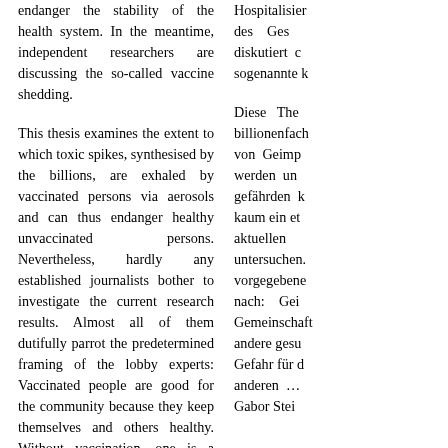endanger the stability of the health system. In the meantime, independent researchers are discussing the so-called vaccine shedding.
This thesis examines the extent to which toxic spikes, synthesised by the billions, are exhaled by vaccinated persons via aerosols and can thus endanger healthy unvaccinated persons. Nevertheless, hardly any established journalists bother to investigate the current research results. Almost all of them dutifully parrot the predetermined framing of the lobby experts: Vaccinated people are good for the community because they keep themselves and others healthy. Without vaccination, one is a danger to the collective and harms oneself and others … And while journalist Gabor Steingart confesses in Focus that he is afraid of the throat breeding grounds of the
Hospitalisier des Ges diskutiert c sogenannte k
Diese The billionenfach von Geimp werden un gefährden k kaum ein et aktuellen untersuchen. vorgegebene nach: Gei Gemeinschaft andere gesu Gefahr für d anderen … Gabor Stei